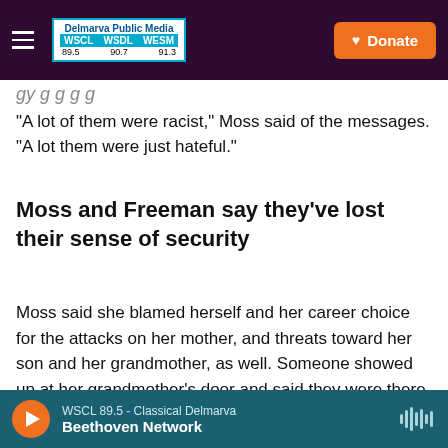Delmarva Public Media WSCL WSDL WESM 89.5 90.7 91.3 | Donate
"A lot of them were racist," Moss said of the messages. "A lot them were just hateful."
Moss and Freeman say they've lost their sense of security
Moss said she blamed herself and her career choice for the attacks on her mother, and threats toward her son and her grandmother, as well. Someone showed up at her grandmother's door and said they were there to make a citizen's arrest, Moss said.
WSCL 89.5 - Classical Delmarva | Beethoven Network